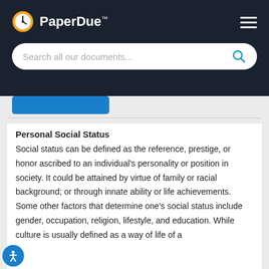PaperDue™
Personal Social Status
Social status can be defined as the reference, prestige, or honor ascribed to an individual's personality or position in society. It could be attained by virtue of family or racial background; or through innate ability or life achievements. Some other factors that determine one's social status include gender, occupation, religion, lifestyle, and education. While culture is usually defined as a way of life of a